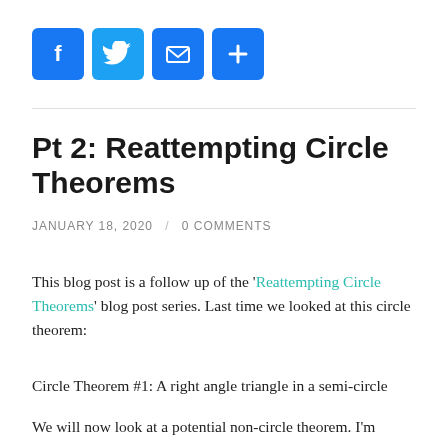[Figure (other): Social sharing buttons: Facebook (blue), Twitter (blue), Email (blue envelope), Plus/More (blue)]
Pt 2: Reattempting Circle Theorems
JANUARY 18, 2020 / 0 COMMENTS
This blog post is a follow up of the 'Reattempting Circle Theorems' blog post series. Last time we looked at this circle theorem:
Circle Theorem #1: A right angle triangle in a semi-circle
We will now look at a potential non-circle theorem. I'm